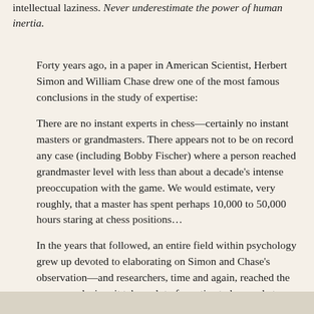intellectual laziness. Never underestimate the power of human inertia.
Forty years ago, in a paper in American Scientist, Herbert Simon and William Chase drew one of the most famous conclusions in the study of expertise:
There are no instant experts in chess—certainly no instant masters or grandmasters. There appears not to be on record any case (including Bobby Fischer) where a person reached grandmaster level with less than about a decade's intense preoccupation with the game. We would estimate, very roughly, that a master has spent perhaps 10,000 to 50,000 hours staring at chess positions…
In the years that followed, an entire field within psychology grew up devoted to elaborating on Simon and Chase's observation—and researchers, time and again, reached the same conclusion: it takes a lot of practice to be good at complex tasks.